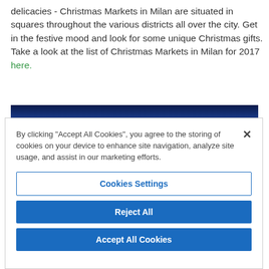delicacies - Christmas Markets in Milan are situated in squares throughout the various districts all over the city. Get in the festive mood and look for some unique Christmas gifts. Take a look at the list of Christmas Markets in Milan for 2017 here.
[Figure (photo): Panoramic photo of a city skyline at night or dusk with blue-toned sky and illuminated buildings]
By clicking "Accept All Cookies", you agree to the storing of cookies on your device to enhance site navigation, analyze site usage, and assist in our marketing efforts.
Cookies Settings
Reject All
Accept All Cookies